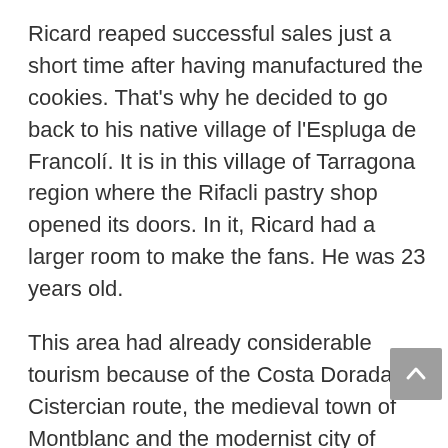Ricard reaped successful sales just a short time after having manufactured the cookies. That's why he decided to go back to his native village of l'Espluga de Francolí. It is in this village of Tarragona region where the Rifacli pastry shop opened its doors. In it, Ricard had a larger room to make the fans. He was 23 years old.
This area had already considerable tourism because of the Costa Dorada, the Cistercian route, the medieval town of Montblanc and the modernist city of Reus. The demand was so high that Rosa, his wife, became involved in the business. Together they made and sold handmade cookies in their local family home. The store was located in the same house at street level.
In the small workshop of l'Espluga de Francolí, the manufacturing process...